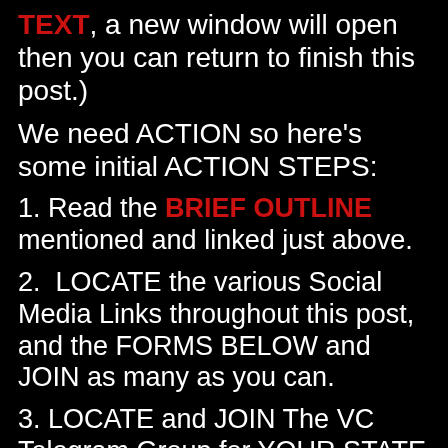TEXT, a new window will open then you can return to finish this post.)
We need ACTION so here's some initial ACTION STEPS:
1. Read the BRIEF OUTLINE mentioned and linked just above.
2.  LOCATE the various Social Media Links throughout this post, and the FORMS BELOW and JOIN as many as you can.
3. LOCATE and JOIN The VC Telegram Group for YOUR STATE (CLICK HERE) and The VC MAIN